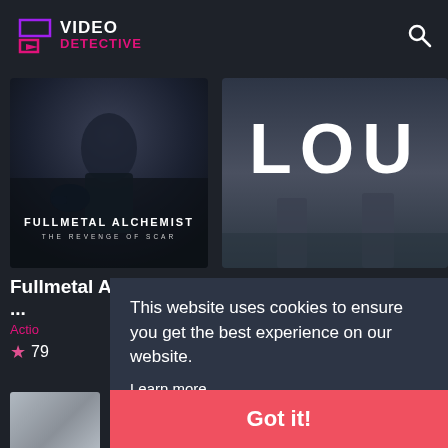VIDEO DETECTIVE
[Figure (screenshot): Fullmetal Alchemist: The Revenge of Scar movie poster - dark fantasy imagery]
[Figure (screenshot): Lou movie poster - two figures standing, large LOU text]
Fullmetal Alchemist: ...
Actio
79
Lou
Drama, Action-Adventure
This website uses cookies to ensure you get the best experience on our website.
Learn more
Got it!